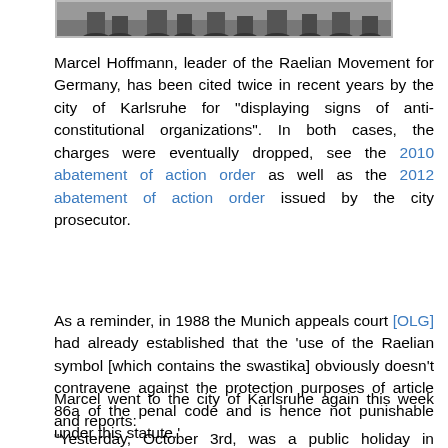[Figure (photo): Partial photo strip showing feet/shoes of people standing, cropped at top of page]
Marcel Hoffmann, leader of the Raelian Movement for Germany, has been cited twice in recent years by the city of Karlsruhe for "displaying signs of anti-constitutional organizations". In both cases, the charges were eventually dropped, see the 2010 abatement of action order as well as the 2012 abatement of action order issued by the city prosecutor.
As a reminder, in 1988 the Munich appeals court [OLG] had already established that the 'use of the Raelian symbol [which contains the swastika] obviously doesn't contravene against the protection purposes of article 86a of the penal code and is hence not punishable under this statute.'
Marcel went to the city of Karlsruhe again this week and reports:
"Yesterday, October 3rd, was a public holiday in Germany (23 years of reunification). The weather was